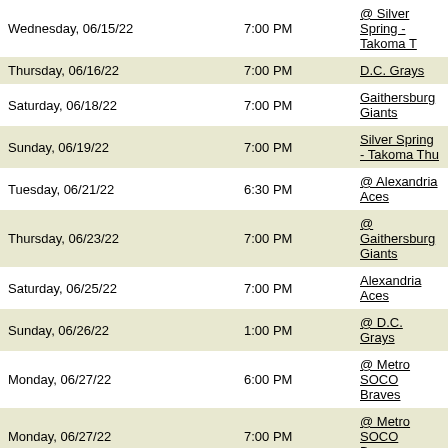| Date | Time | Opponent |
| --- | --- | --- |
| Wednesday, 06/15/22 | 7:00 PM | @ Silver Spring - Takoma T |
| Thursday, 06/16/22 | 7:00 PM | D.C. Grays |
| Saturday, 06/18/22 | 7:00 PM | Gaithersburg Giants |
| Sunday, 06/19/22 | 7:00 PM | Silver Spring - Takoma Thu |
| Tuesday, 06/21/22 | 6:30 PM | @ Alexandria Aces |
| Thursday, 06/23/22 | 7:00 PM | @ Gaithersburg Giants |
| Saturday, 06/25/22 | 7:00 PM | Alexandria Aces |
| Sunday, 06/26/22 | 1:00 PM | @ D.C. Grays |
| Monday, 06/27/22 | 6:00 PM | @ Metro SOCO Braves |
| Monday, 06/27/22 | 7:00 PM | @ Metro SOCO Braves |
| Tuesday, 06/28/22 | 7:00 PM | @ Silver Spring - Takoma T |
| Wednesday, 06/29/22 | 7:00 PM | Southern Maryland Senator |
| Thursday, 06/30/22 | 6:00 PM | Olney Cropdusters |
| Thursday, 06/30/22 | 7:00 PM | Olney Cropdusters |
| Friday, 07/01/22 | 6:30 PM | @ Alexandria Aces |
| Sunday, 07/03/22 | 7:00 PM | D.C. Grays |
| Tuesday, 07/05/22 | 7:00 PM | CRCBL All-Star Game |
| Wednesday, 07/06/22 | 7:00 PM | Native American National B |